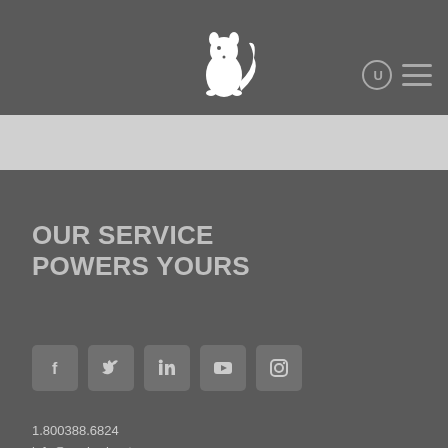[Figure (logo): Squirrel Systems logo — white squirrel silhouette on dark grey background]
OUR SERVICE POWERS YOURS
[Figure (infographic): Social media icons: Facebook, Twitter, LinkedIn, YouTube, Instagram]
1.800388.6824
info@squirrelsystems.com
8585 Baxter Place, Burnaby